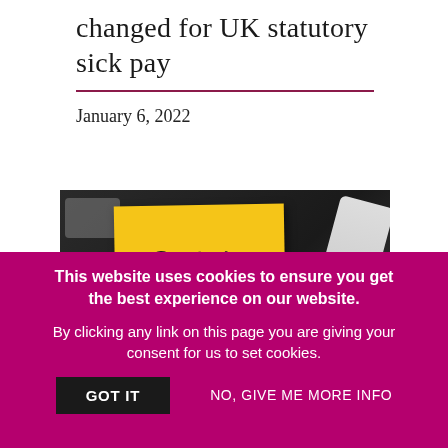changed for UK statutory sick pay
January 6, 2022
[Figure (photo): A yellow sticky note with 'Statutory Sick Pay' written on it in marker, placed on a dark surface with a marker pen and pills visible nearby.]
This website uses cookies to ensure you get the best experience on our website.
By clicking any link on this page you are giving your consent for us to set cookies.
GOT IT
NO, GIVE ME MORE INFO